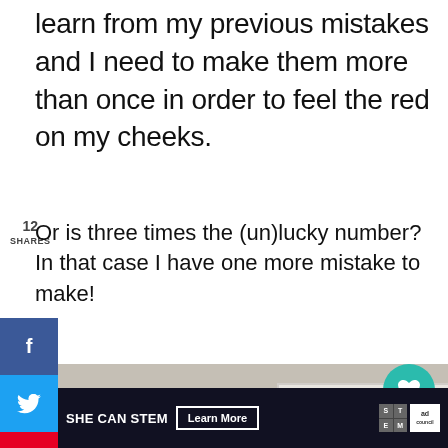learn from my previous mistakes and I need to make them more than once in order to feel the red on my cheeks.
12
SHARES
Or is three times the (un)lucky number? In that case I have one more mistake to make!
[Figure (photo): Interior room photo showing a dark leather sofa with floral pillows, a lamp, and a white framed artwork on the grey wall behind]
[Figure (screenshot): Social media share sidebar with Facebook, Twitter, Pinterest, and email buttons; share count showing 12]
[Figure (infographic): Right panel showing heart/like button with count 13, share icon, What's Next section with pink-haired person thumbnail and text 'How to Make Easy...']
[Figure (screenshot): Ad banner: SHE CAN STEM with Learn More button, STEM grid logo, ad council logo]